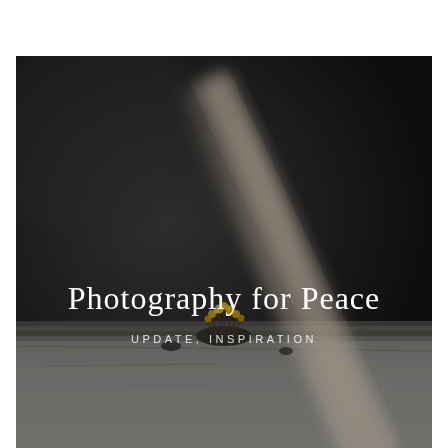[Figure (photo): A dark moody macro photograph. The upper portion shows a very dark near-black background with a blurred diagonal light-colored streak (possibly a plant stem or reed) cutting from lower-left to upper-right across the right side. The lower portion shows a rough stone or concrete surface in muted grey tones. Centered on the stone surface is a small cluster of yellow-tipped dried moss or lichen. The overall tone is dark and atmospheric.]
Photography for Peace
UPDATE, INSPIRATION